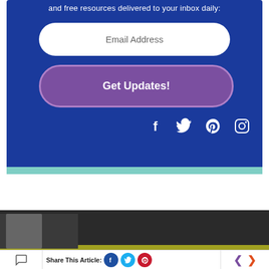and free resources delivered to your inbox daily:
Email Address
Get Updates!
[Figure (infographic): Social media icons: Facebook, Twitter, Pinterest, Instagram (white icons on dark blue background)]
[Figure (infographic): Dark background section with partial thumbnail image]
Share This Article:
[Figure (infographic): Share buttons: Facebook (dark blue circle), Twitter (cyan circle), Pinterest (red circle); navigation left/right arrows in purple and orange]